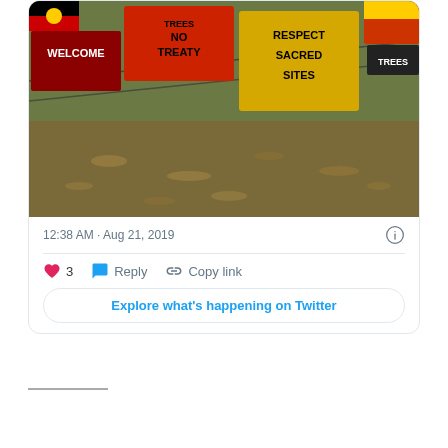[Figure (photo): Protest signs on a fence at a demonstration. Signs read: 'WELCOME', 'TREES NO TREATY', 'RESPECT SACRED SITES', 'SACRED TREES'. Ground covered with dry leaves and grass.]
12:38 AM · Aug 21, 2019
3   Reply   Copy link
Explore what's happening on Twitter